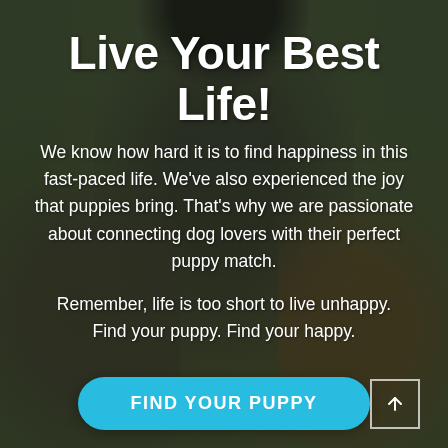[Figure (photo): Photo of dogs in an outdoor setting with dark green/brown blurred background. A black and white border collie is prominent in the center jumping up, with other dogs visible on the sides.]
Live Your Best Life!
We know how hard it is to find happiness in this fast-paced life. We've also experienced the joy that puppies bring. That's why we are passionate about connecting dog lovers with their perfect puppy match.
Remember, life is too short to live unhappy. Find your puppy. Find your happy.
FIND YOUR PUPPY